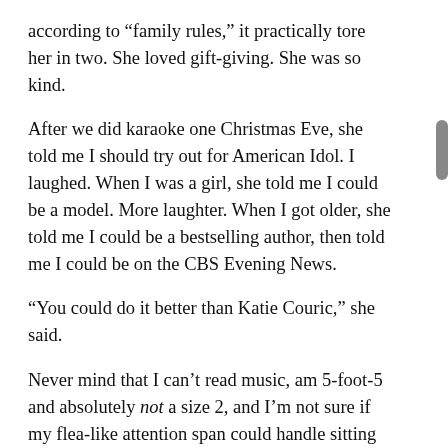according to “family rules,” it practically tore her in two. She loved gift-giving. She was so kind.
After we did karaoke one Christmas Eve, she told me I should try out for American Idol. I laughed. When I was a girl, she told me I could be a model. More laughter. When I got older, she told me I could be a bestselling author, then told me I could be on the CBS Evening News.
“You could do it better than Katie Couric,” she said.
Never mind that I can’t read music, am 5-foot-5 and absolutely not a size 2, and I’m not sure if my flea-like attention span could handle sitting for months to pen a book. And as much as I’d like to pretend it’s easy to just step in and dethrone network news anchors, saying that is the near equivalent to inaugurating myself as the President.
None of that mattered to Pam. I was her niece; therefore I